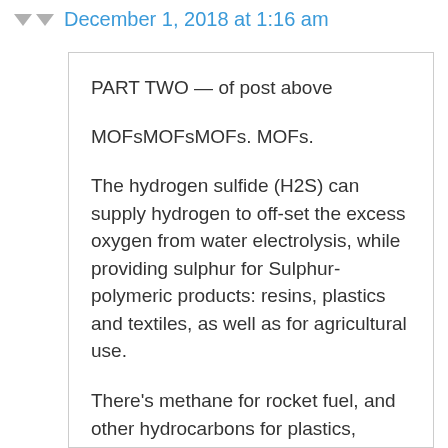December 1, 2018 at 1:16 am
PART TWO — of post above
MOFsMOFsMOFs. MOFs.
The hydrogen sulfide (H2S) can supply hydrogen to off-set the excess oxygen from water electrolysis, while providing sulphur for Sulphur-polymeric products: resins, plastics and textiles, as well as for agricultural use.
There’s methane for rocket fuel, and other hydrocarbons for plastics, fabrics and resins. There’s ammonia